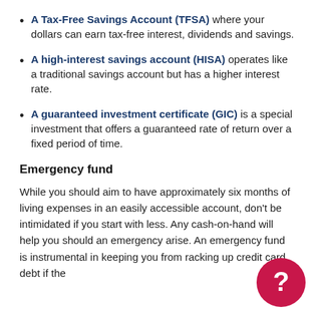A Tax-Free Savings Account (TFSA) where your dollars can earn tax-free interest, dividends and savings.
A high-interest savings account (HISA) operates like a traditional savings account but has a higher interest rate.
A guaranteed investment certificate (GIC) is a special investment that offers a guaranteed rate of return over a fixed period of time.
Emergency fund
While you should aim to have approximately six months of living expenses in an easily accessible account, don't be intimidated if you start with less. Any cash-on-hand will help you should an emergency arise. An emergency fund is instrumental in keeping you from racking up credit card debt if the